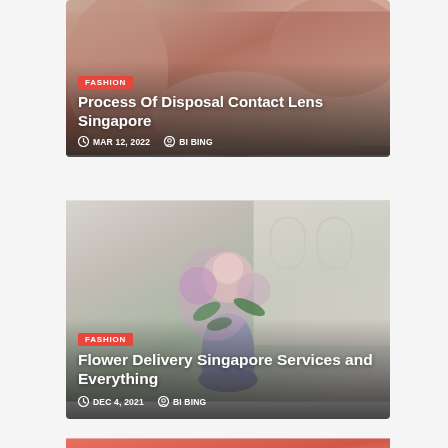[Figure (photo): Person putting in contact lens, warm skin tones background]
FASHION
Process Of Disposal Contact Lens Singapore
MAR 12, 2022   BI BING
[Figure (photo): Flower bouquet with pink roses and purple flowers in a vase, white architectural background]
FASHION
Flower Delivery Singapore Services and Everything
DEC 4, 2021   BI BING
[Figure (photo): Partial view of coral/salmon colored background with a hand, third article card partially visible]